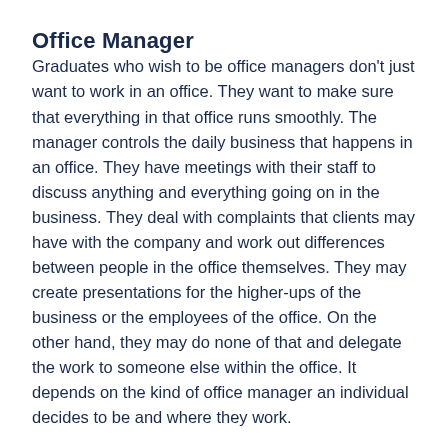Office Manager
Graduates who wish to be office managers don't just want to work in an office. They want to make sure that everything in that office runs smoothly. The manager controls the daily business that happens in an office. They have meetings with their staff to discuss anything and everything going on in the business. They deal with complaints that clients may have with the company and work out differences between people in the office themselves. They may create presentations for the higher-ups of the business or the employees of the office. On the other hand, they may do none of that and delegate the work to someone else within the office. It depends on the kind of office manager an individual decides to be and where they work.
Educa...